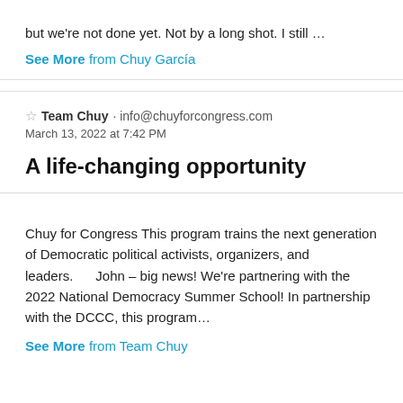but we're not done yet. Not by a long shot. I still …
See More from Chuy García
☆ Team Chuy · info@chuyforcongress.com
March 13, 2022 at 7:42 PM
A life-changing opportunity
Chuy for Congress This program trains the next generation of Democratic political activists, organizers, and leaders.      John – big news! We're partnering with the 2022 National Democracy Summer School! In partnership with the DCCC, this program…
See More from Team Chuy